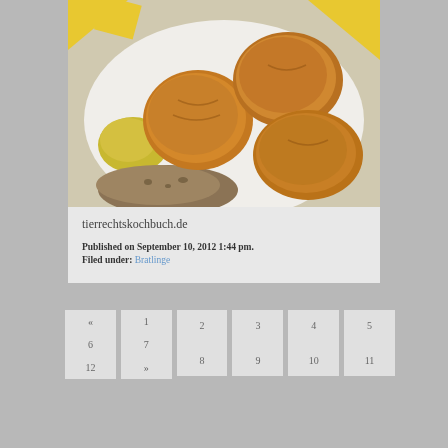[Figure (photo): Photo of fried vegetable patties/Bratlinge on a white plate with yellow pattern, with mustard sauce and bread]
tierrechtskochbuch.de
Published on September 10, 2012 1:44 pm.
Filed under: Bratlinge
« 1 2 3 4 5
6 7 8 9 10 11
12 »